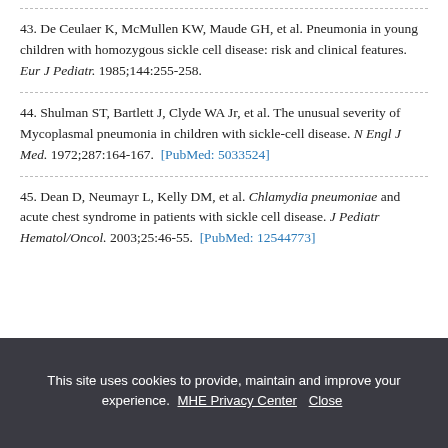43. De Ceulaer K, McMullen KW, Maude GH, et al. Pneumonia in young children with homozygous sickle cell disease: risk and clinical features. Eur J Pediatr. 1985;144:255-258.
44. Shulman ST, Bartlett J, Clyde WA Jr, et al. The unusual severity of Mycoplasmal pneumonia in children with sickle-cell disease. N Engl J Med. 1972;287:164-167. [PubMed: 5033524]
45. Dean D, Neumayr L, Kelly DM, et al. Chlamydia pneumoniae and acute chest syndrome in patients with sickle cell disease. J Pediatr Hematol/Oncol. 2003;25:46-55. [PubMed: 12544773]
This site uses cookies to provide, maintain and improve your experience. MHE Privacy Center  Close